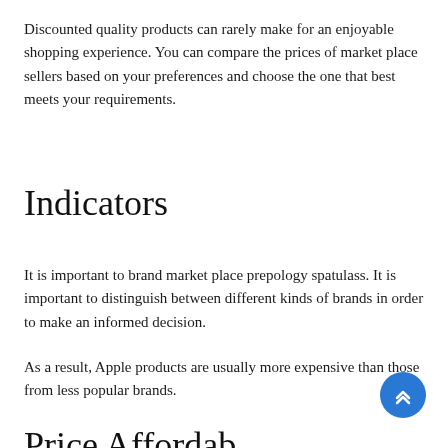Discounted quality products can rarely make for an enjoyable shopping experience. You can compare the prices of market place sellers based on your preferences and choose the one that best meets your requirements.
Indicators
It is important to brand market place prepology spatulass. It is important to distinguish between different kinds of brands in order to make an informed decision.
As a result, Apple products are usually more expensive than those from less popular brands.
Price Affordability